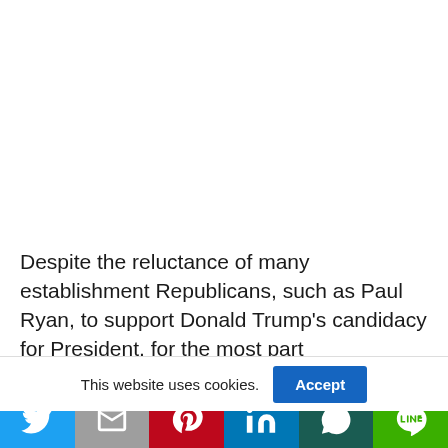Despite the reluctance of many establishment Republicans, such as Paul Ryan, to support Donald Trump's candidacy for President, for the most part Republicans, like Ryan, have now rallied
This website uses cookies.
[Figure (other): Social sharing bar with Twitter, Gmail, Pinterest, LinkedIn, WhatsApp, and LINE buttons]